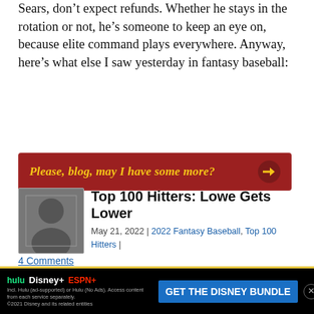Sears, don’t expect refunds. Whether he stays in the rotation or not, he’s someone to keep an eye on, because elite command plays everywhere. Anyway, here’s what else I saw yesterday in fantasy baseball:
[Figure (other): Red call-to-action banner: 'Please, blog, may I have some more?' with arrow icon]
Top 100 Hitters: Lowe Gets Lower
May 21, 2022 | 2022 Fantasy Baseball, Top 100 Hitters | 4 Comments
by: Jeremy Brewer
As we approach June, the Mets have the best record in the National League.  Like many fans, fantasy owners might be asking what is happening and how did we get here?  Luckily like the real world we can expect the Mets to falter.  If you are not league, you hav It is
[Figure (other): Disney Bundle advertisement banner with Hulu, Disney+, ESPN+ logos and GET THE DISNEY BUNDLE call-to-action button]